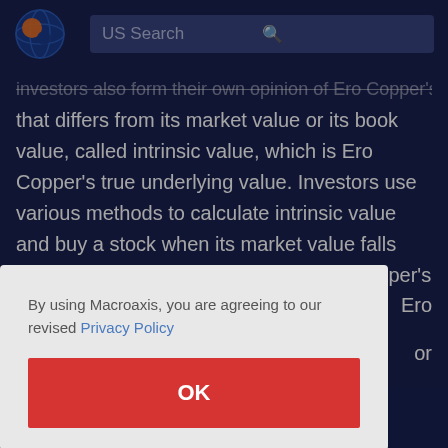[Figure (logo): Macroaxis globe logo with orange and blue colors]
US Search
investors also form their own opinion of Ero Copper's value that differs from its market value or its book value, called intrinsic value, which is Ero Copper's true underlying value. Investors use various methods to calculate intrinsic value and buy a stock when its market value falls below its intrinsic value. Because Ero Copper's market value can be
Ero
or
ely
By using Macroaxis, you are agreeing to our revised Privacy Policy
OK
M Score